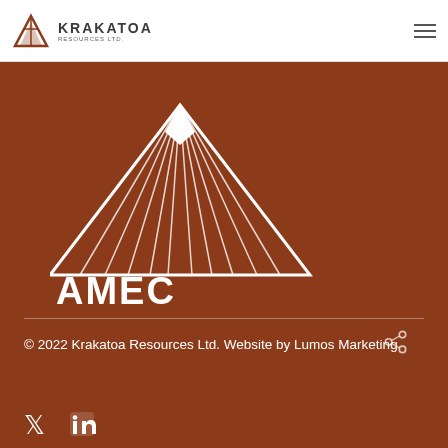KRAKATOA RESOURCES LTD.
[Figure (logo): AMEC Association of Mining and Exploration Companies 2021 MEMBER logo with triangle/mountain design in white on brown background]
© 2022 Krakatoa Resources Ltd. Website by Lumos Marketing